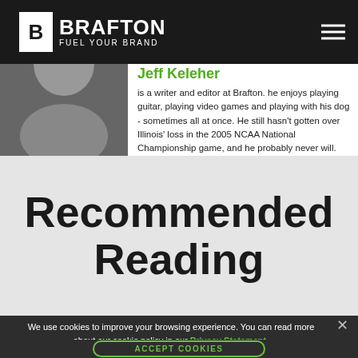BRAFTON FUEL YOUR BRAND
Jeff Keleher
is a writer and editor at Brafton. he enjoys playing guitar, playing video games and playing with his dog - sometimes all at once. He still hasn't gotten over Illinois' loss in the 2005 NCAA National Championship game, and he probably never will.
Recommended Reading
We use cookies to improve your browsing experience. You can read more about our cookie policy in our Privacy Statement.
ACCEPT COOKIES